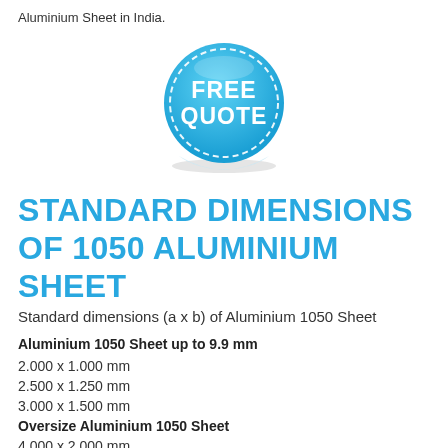Aluminium Sheet in India.
[Figure (illustration): Blue circular badge/sticker with dashed border, text FREE QUOTE in white bold letters, curved bottom edge suggesting peeling sticker effect]
STANDARD DIMENSIONS OF 1050 ALUMINIUM SHEET
Standard dimensions (a x b) of Aluminium 1050 Sheet
Aluminium 1050 Sheet up to 9.9 mm
2.000 x 1.000 mm
2.500 x 1.250 mm
3.000 x 1.500 mm
Oversize Aluminium 1050 Sheet
4.000 x 2.000 mm
6.000 x 2.500 mm